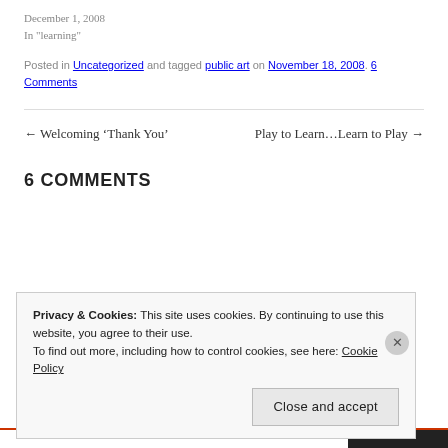December 1, 2008
In "learning"
Posted in Uncategorized and tagged public art on November 18, 2008. 6 Comments
← Welcoming ‘Thank You’    Play to Learn…Learn to Play →
6 COMMENTS
Privacy & Cookies: This site uses cookies. By continuing to use this website, you agree to their use.
To find out more, including how to control cookies, see here: Cookie Policy
Close and accept